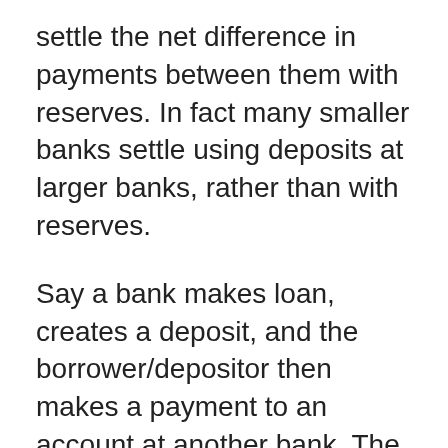settle the net difference in payments between them with reserves. In fact many smaller banks settle using deposits at larger banks, rather than with reserves.
Say a bank makes loan, creates a deposit, and the borrower/depositor then makes a payment to an account at another bank. The first bank could borrow from the second bank, or an equal payment could come from the second bank to the first bank, and no reserves would actually change hands. Most of the monetary system is just